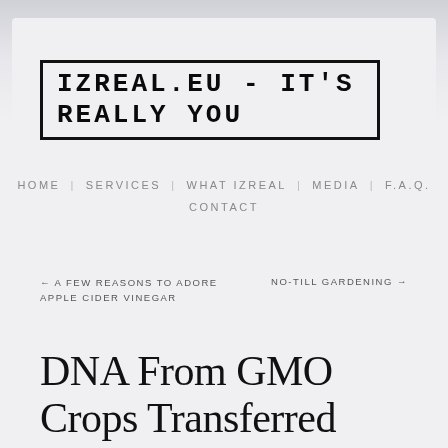IZREAL.EU - IT'S REALLY YOU
HOME   SERVICES   WHAT IZREAL   MEDIA   F.A.Q.   CONTACT
← A FEW REASONS TO ADORE APPLE CIDER VINEGAR
NO-TILL GARDENING →
DNA From GMO Crops Transferred Into Humans